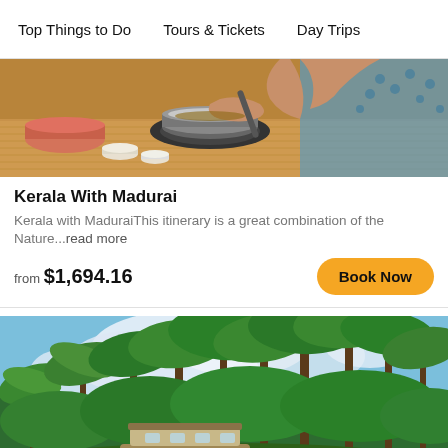Top Things to Do   Tours & Tickets   Day Trips
[Figure (photo): Hands cooking food over stove with pots, pans and ingredients on a table — Indian cooking scene]
Kerala With Madurai
Kerala with MaduraiThis itinerary is a great combination of the Nature...read more
from $1,694.16
[Figure (photo): Kerala backwaters scene with a traditional houseboat on calm water surrounded by lush palm trees and tropical greenery under a cloudy blue sky]